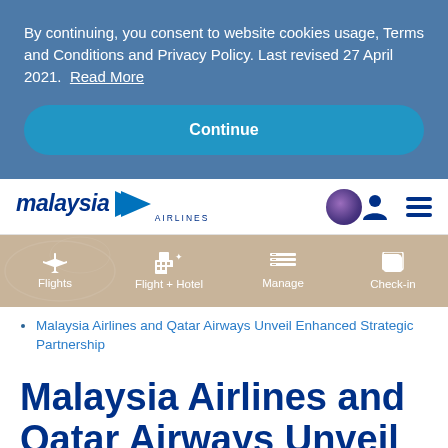By continuing, you consent to website cookies usage, Terms and Conditions and Privacy Policy. Last revised 27 April 2021. Read More
Continue
[Figure (logo): Malaysia Airlines logo with stylized text and arrow, Enrich purple circle, user icon and hamburger menu icon]
[Figure (infographic): Navigation menu bar with tan/beige background showing Flights, Flight + Hotel, Manage, Check-in icons]
Malaysia Airlines and Qatar Airways Unveil Enhanced Strategic Partnership
Malaysia Airlines and Qatar Airways Unveil